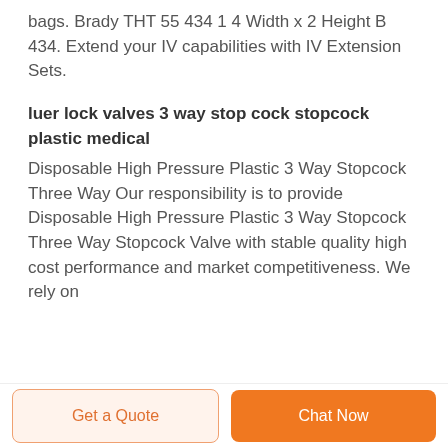bags. Brady THT 55 434 1 4 Width x 2 Height B 434. Extend your IV capabilities with IV Extension Sets.
luer lock valves 3 way stop cock stopcock plastic medical
Disposable High Pressure Plastic 3 Way Stopcock Three Way Our responsibility is to provide Disposable High Pressure Plastic 3 Way Stopcock Three Way Stopcock Valve with stable quality high cost performance and market competitiveness. We rely on
Get a Quote | Chat Now